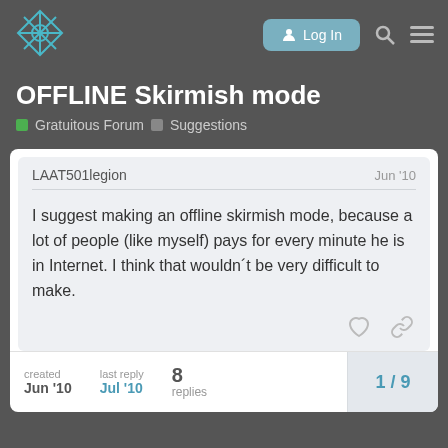[Figure (logo): Gratuitous Space Battles forum logo - geometric diamond/star shape in teal/cyan lines on dark background]
OFFLINE Skirmish mode
Gratuitous Forum  Suggestions
LAAT501legion   Jun '10
I suggest making an offline skirmish mode, because a lot of people (like myself) pays for every minute he is in Internet. I think that wouldn´t be very difficult to make.
created Jun '10   last reply Jul '10   8 replies   1/9